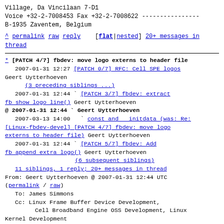Village, Da Vincilaan 7-D1
Voice +32-2-7008453 Fax +32-2-7008622 ----------------
B-1935 Zaventem, Belgium
^ permalink raw reply   [flat|nested] 20+ messages in thread
* [PATCH 4/7] fbdev: move logo externs to header file
2007-01-31 12:27 [PATCH 0/7] RFC: Cell SPE logos Geert Uytterhoeven
  (3 preceding siblings ...)
  2007-01-31 12:44 ` [PATCH 3/7] fbdev: extract fb show logo line() Geert Uytterhoeven
@ 2007-01-31 12:44 ` Geert Uytterhoeven
  2007-03-13 14:00  ` const and  initdata (was: Re: [Linux-fbdev-devel] [PATCH 4/7] fbdev: move logo externs to header file) Geert Uytterhoeven
  2007-01-31 12:44 ` [PATCH 5/7] fbdev: Add fb append extra logo() Geert Uytterhoeven
                     (6 subsequent siblings)
  11 siblings, 1 reply; 20+ messages in thread
From: Geert Uytterhoeven @ 2007-01-31 12:44 UTC
(permalink / raw)
  To: James Simmons
  Cc: Linux Frame Buffer Device Development,
      Cell Broadband Engine OSS Development, Linux Kernel Development
Move the external declarations for the various linux